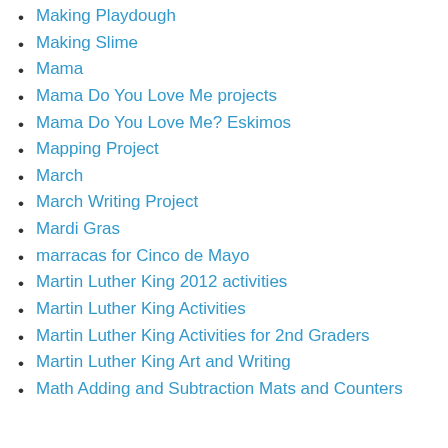Making Playdough
Making Slime
Mama
Mama Do You Love Me projects
Mama Do You Love Me? Eskimos
Mapping Project
March
March Writing Project
Mardi Gras
marracas for Cinco de Mayo
Martin Luther King 2012 activities
Martin Luther King Activities
Martin Luther King Activities for 2nd Graders
Martin Luther King Art and Writing
Math Adding and Subtraction Mats and Counters